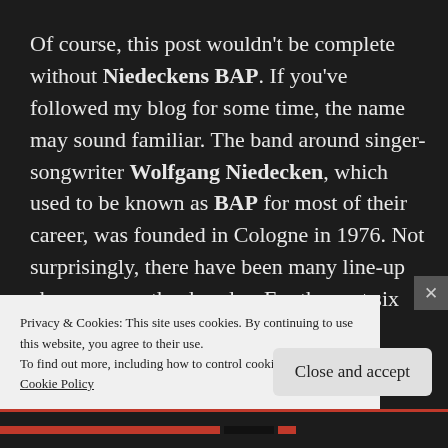Of course, this post wouldn't be complete without Niedeckens BAP. If you've followed my blog for some time, the name may sound familiar. The band around singer-songwriter Wolfgang Niedecken, which used to be known as BAP for most of their career, was founded in Cologne in 1976. Not surprisingly, there have been many line-up changes over the decades. For the past six years, the band essentially has
Privacy & Cookies: This site uses cookies. By continuing to use this website, you agree to their use.
To find out more, including how to control cookies, see here:
Cookie Policy
Close and accept